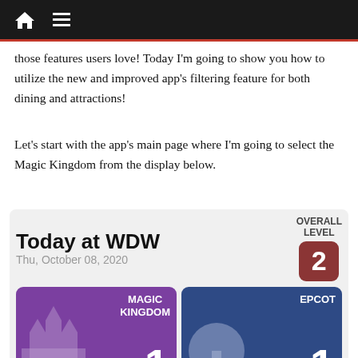Navigation bar with home icon and hamburger menu
those features users love! Today I’m going to show you how to utilize the new and improved app’s filtering feature for both dining and attractions!
Let’s start with the app’s main page where I’m going to select the Magic Kingdom from the display below.
[Figure (screenshot): Screenshot of a WDW app showing 'Today at WDW' with date Thu, October 08, 2020. Overall Level 2 badge. Two park cards visible: Magic Kingdom (level 1, 9 AM - 6 PM) and EPCOT (level 1, 11 AM - 7 PM). Partial Hollywood and Animal park cards visible at bottom.]